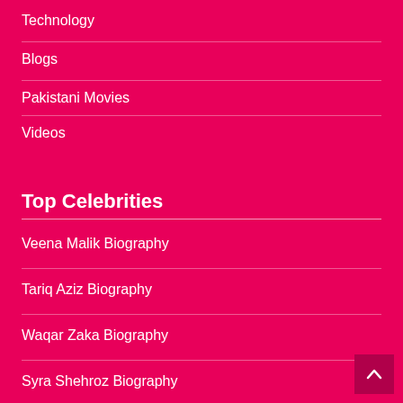Technology
Blogs
Pakistani Movies
Videos
Top Celebrities
Veena Malik Biography
Tariq Aziz Biography
Waqar Zaka Biography
Syra Shehroz Biography